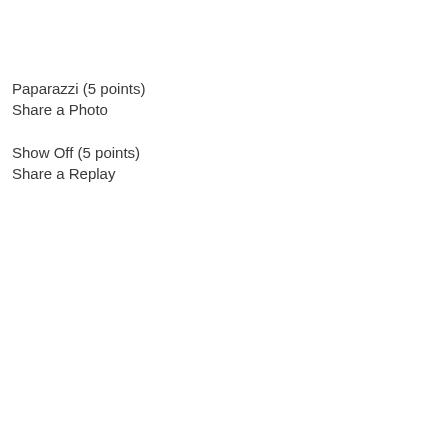Paparazzi (5 points)
Share a Photo
Show Off (5 points)
Share a Replay